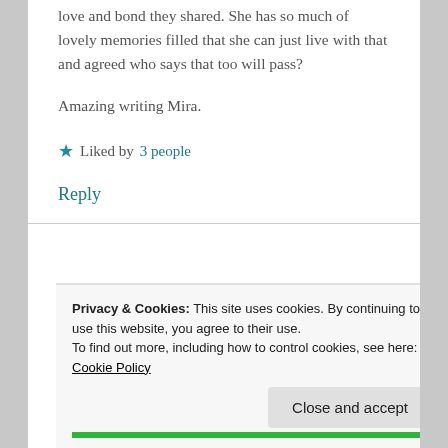love and bond they shared. She has so much of lovely memories filled that she can just live with that and agreed who says that too will pass?
Amazing writing Mira.
★ Liked by 3 people
Reply
Privacy & Cookies: This site uses cookies. By continuing to use this website, you agree to their use. To find out more, including how to control cookies, see here: Cookie Policy
Close and accept